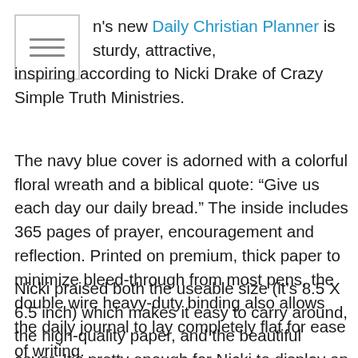[Figure (other): Small icon box with three horizontal lines (hamburger/menu icon style)]
en's new Daily Christian Planner is sturdy, attractive, inspiring according to Nicki Drake of Crazy Simple Truth Ministries.
The navy blue cover is adorned with a colorful floral wreath and a biblical quote: “Give us each day our daily bread.” The inside includes 365 pages of prayer, encouragement and reflection. Printed on premium, thick paper to minimize bleed-through from most pens, the double wire heavy-duty binding also allows the daily journal to lay completely flat for ease of writing.
Nicki praised both the useable size (it’s 8.5 X 6.5 inch) which makes it easy to carry around, the high-quality paper, and the beautiful cover. It’s pretty enough for Nicki to display on her living room shelf and features an